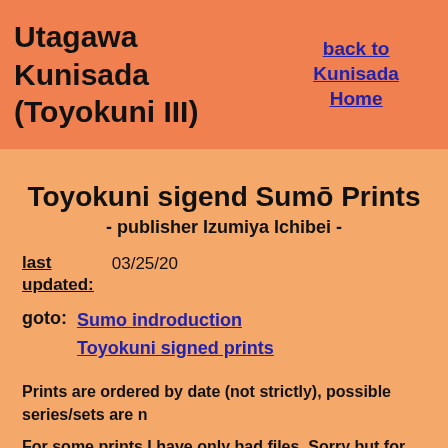Utagawa Kunisada (Toyokuni III)
back to Kunisada Home
Toyokuni sigend Sumō Prints
- publisher Izumiya Ichibei -
last updated: 03/25/20
goto: Sumo indroduction
Toyokuni signed prints
Prints are ordered by date (not strictly), possible series/sets are n
For some prints I have only bad files. Sorry but for this case the nothing.